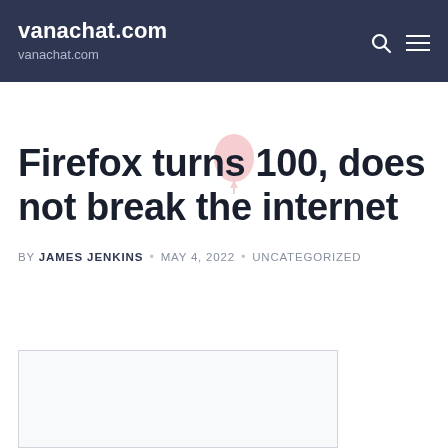vanachat.com
vanachat.com
Firefox turns 100, does not break the internet
BY JAMES JENKINS • MAY 4, 2022 • UNCATEGORIZED
[Figure (photo): Empty image placeholder box at the bottom of the article page]